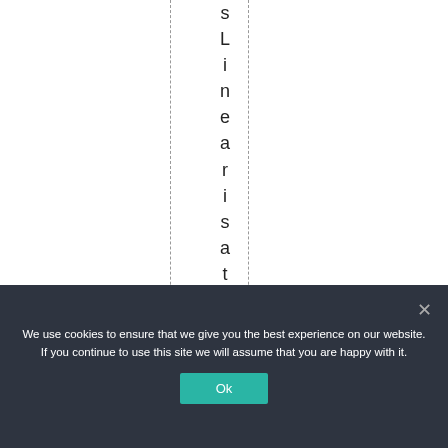sLinearisationment
We use cookies to ensure that we give you the best experience on our website. If you continue to use this site we will assume that you are happy with it.